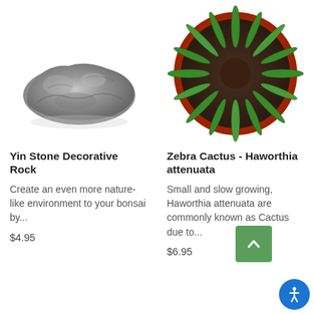[Figure (photo): Yin Stone decorative rock, grey craggy rock on white background]
[Figure (photo): Zebra Cactus Haworthia attenuata in red pot, viewed from above on white background]
Yin Stone Decorative Rock
Zebra Cactus - Haworthia attenuata
Create an even more nature-like environment to your bonsai by...
Small and slow growing, Haworthia attenuata are commonly known as Cactus due to...
$4.95
$6.95